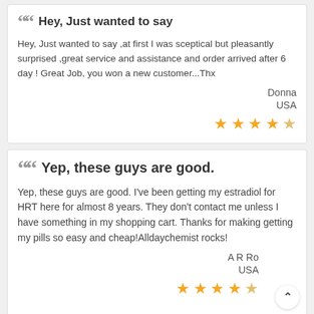Hey, Just wanted to say
Hey, Just wanted to say ,at first I was sceptical but pleasantly surprised ,great service and assistance and order arrived after 6 day ! Great Job, you won a new customer...Thx
Donna
USA
4 out of 5 stars
Yep, these guys are good.
Yep, these guys are good. I've been getting my estradiol for HRT here for almost 8 years. They don't contact me unless I have something in my shopping cart. Thanks for making getting my pills so easy and cheap!Alldaychemist rocks!
A R Ro
USA
4 out of 5 stars